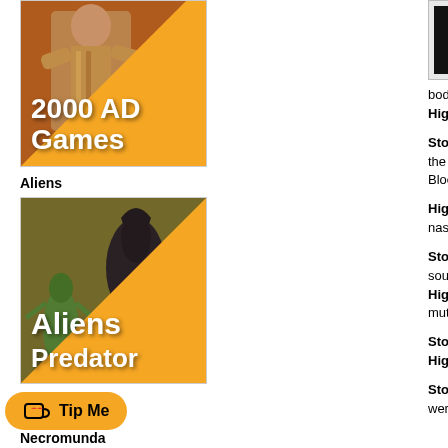[Figure (photo): 2000 AD Games card with painted miniature figure in yellow coat, orange diagonal background with white bold text '2000 AD Games']
Aliens
[Figure (photo): Aliens Predator card with alien creature miniature photo, orange diagonal background with white bold text 'Aliens Predator']
[Figure (logo): Tip Me button with heart/coffee cup icon on orange pill-shaped background]
Necromunda
[Figure (photo): Top right partial image showing black and white badge/shield graphic]
bodies it is discovered that o
Highlight: Judge Korkoran tu
Story: Cry of the Werewolf (P the earlier attack. As Dredd s Block.
Highlight: The poor neighbo nasty surprise.
Story: Cry of the Werewolf (P source and end the problem o
Highlight: The Undercity - Th mutants, criminals and other
Story: Cry of the Werewolf (P
Highlight: The wolf is lead by
Story: Cry of the Werewolf (P werewolf pack. Soon Dredd is